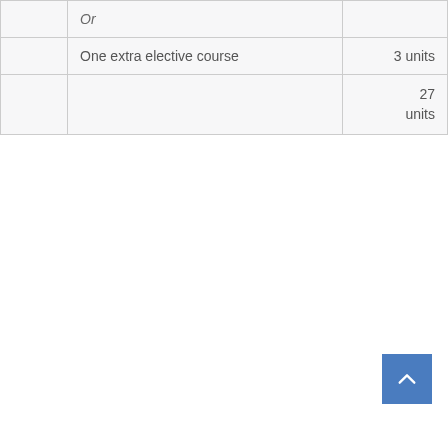|  | Or |  |
|  | One extra elective course | 3 units |
|  |  | 27 units |